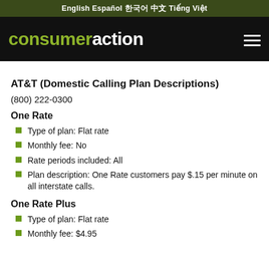English   Español   한국어   中文   Tiếng Việt
consumeraction
AT&T (Domestic Calling Plan Descriptions)
(800) 222-0300
One Rate
Type of plan: Flat rate
Monthly fee: No
Rate periods included: All
Plan description: One Rate customers pay $.15 per minute on all interstate calls.
One Rate Plus
Type of plan: Flat rate
Monthly fee: $4.95